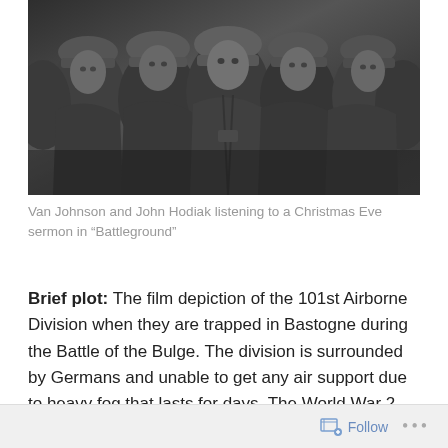[Figure (photo): Black and white photo of Van Johnson and John Hodiak along with other soldiers in military helmets and jackets, listening to a Christmas Eve sermon in the film 'Battleground']
Van Johnson and John Hodiak listening to a Christmas Eve sermon in “Battleground”
Brief plot: The film depiction of the 101st Airborne Division when they are trapped in Bastogne during the Battle of the Bulge. The division is surrounded by Germans and unable to get any air support due to heavy fog that lasts for days. The World War 2 film has a star-studded cast with Van Johnson, John Hodiak, James
Follow …